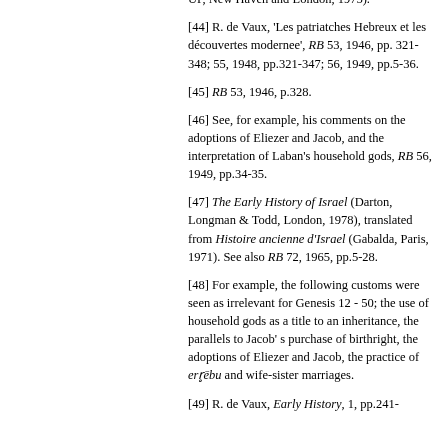Seters, Abraham in History and Tradition (Yale UP, New Haven and London, 1975).
[44] R. de Vaux, 'Les patriatches Hebreux et les découvertes modernee', RB 53, 1946, pp. 321-348; 55, 1948, pp.321-347; 56, 1949, pp.5-36.
[45] RB 53, 1946, p.328.
[46] See, for example, his comments on the adoptions of Eliezer and Jacob, and the interpretation of Laban's household gods, RB 56, 1949, pp.34-35.
[47] The Early History of Israel (Darton, Longman & Todd, London, 1978), translated from Histoire ancienne d'Israel (Gabalda, Paris, 1971). See also RB 72, 1965, pp.5-28.
[48] For example, the following customs were seen as irrelevant for Genesis 12 - 50; the use of household gods as a title to an inheritance, the parallels to Jacob' s purchase of birthright, the adoptions of Eliezer and Jacob, the practice of erṟēbu and wife-sister marriages.
[49] R. de Vaux, Early History, 1, pp.241-